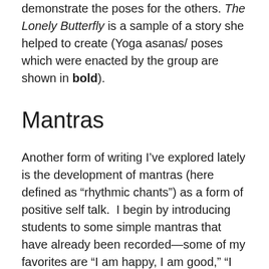demonstrate the poses for the others. The Lonely Butterfly is a sample of a story she helped to create (Yoga asanas/ poses which were enacted by the group are shown in bold).
Mantras
Another form of writing I’ve explored lately is the development of mantras (here defined as “rhythmic chants”) as a form of positive self talk.  I begin by introducing students to some simple mantras that have already been recorded—some of my favorites are “I am happy, I am good,” “I am brave, I am bold,” and “sa ta na ma” which are available through